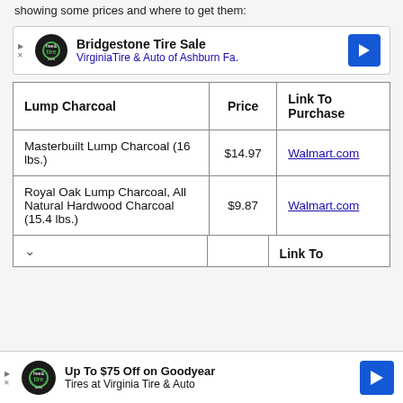showing some prices and where to get them:
[Figure (advertisement): Bridgestone Tire Sale ad for VirginiaTire & Auto of Ashburn Fa.]
| Lump Charcoal | Price | Link To Purchase |
| --- | --- | --- |
| Masterbuilt Lump Charcoal (16 lbs.) | $14.97 | Walmart.com |
| Royal Oak Lump Charcoal, All Natural Hardwood Charcoal (15.4 lbs.) | $9.87 | Walmart.com |
[Figure (advertisement): Up To $75 Off on Goodyear Tires at Virginia Tire & Auto]